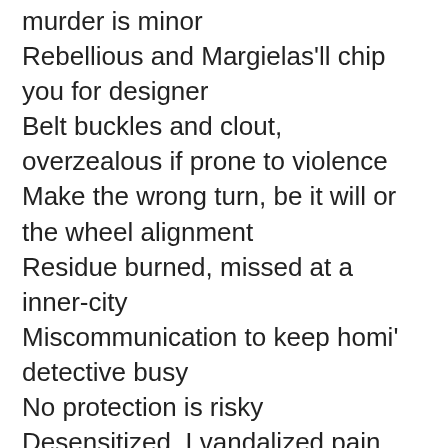murder is minor
Rebellious and Margielas'll chip you for designer
Belt buckles and clout, overzealous if prone to violence
Make the wrong turn, be it will or the wheel alignment
Residue burned, missed at a inner-city
Miscommunication to keep homi' detective busy
No protection is risky
Desensitized, I vandalized pain
Covered up and camouflaged